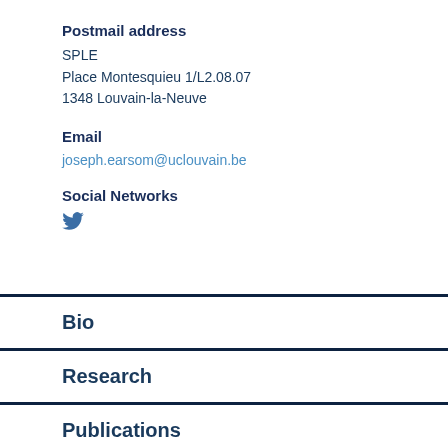Postmail address
SPLE
Place Montesquieu 1/L2.08.07
1348 Louvain-la-Neuve
Email
joseph.earsom@uclouvain.be
Social Networks
[Figure (illustration): Twitter bird icon in blue]
Bio
Research
Publications